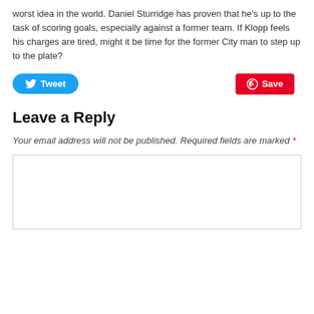worst idea in the world. Daniel Sturridge has proven that he's up to the task of scoring goals, especially against a former team. If Klopp feels his charges are tired, might it be time for the former City man to step up to the plate?
[Figure (other): Tweet and Save social sharing buttons]
Leave a Reply
Your email address will not be published. Required fields are marked *